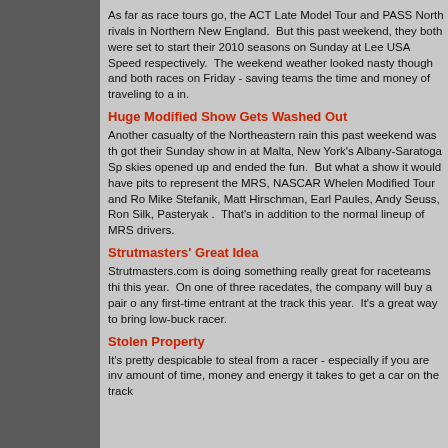As far as race tours go, the ACT Late Model Tour and PASS North rivals in Northern New England. But this past weekend, they both were set to start their 2010 seasons on Sunday at Lee USA Speed respectively. The weekend weather looked nasty though and both races on Friday - saving teams the time and money of traveling to a in.
Huge Modified Show Gets Washed Out
Another casualty of the Northeastern rain this past weekend was th got their Sunday show in at Malta, New York's Albany-Saratoga Sp skies opened up and ended the fun. But what a show it would have pits to represent the MRS, NASCAR Whelen Modified Tour and Ro Mike Stefanik, Matt Hirschman, Earl Paules, Andy Seuss, Ron Silk, Pasteryak . That's in addition to the normal lineup of MRS drivers.
Strutmasters' Great Idea
Strutmasters.com is doing something really great for raceteams thi this year. On one of three racedates, the company will buy a pair o any first-time entrant at the track this year. It's a great way to bring low-buck racer.
Stolen Property
It's pretty despicable to steal from a racer - especially if you are inv amount of time, money and energy it takes to get a car on the track